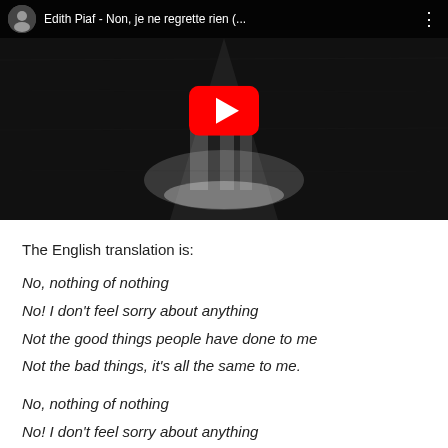[Figure (screenshot): YouTube video thumbnail showing Edith Piaf - Non, je ne regrette rien (... with a black and white image of a figure on stage and a red YouTube play button overlay]
The English translation is:
No, nothing of nothing
No! I don't feel sorry about anything
Not the good things people have done to me
Not the bad things, it's all the same to me.

No, nothing of nothing
No! I don't feel sorry about anything